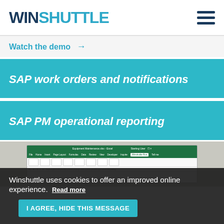WINSHUTTLE
Watch the demo →
SAP work orders and notifications
SAP PM operational reporting
[Figure (screenshot): Screenshot of Microsoft Excel with Winshuttle add-in ribbon tab active, showing green ribbon toolbar and spreadsheet content]
Winshuttle uses cookies to offer an improved online experience.  Read more  I AGREE, HIDE THIS MESSAGE